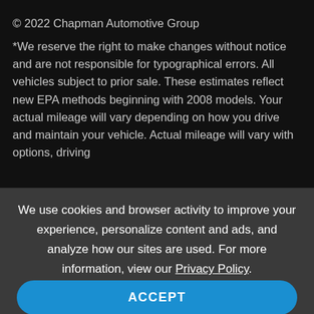© 2022 Chapman Automotive Group
*We reserve the right to make changes without notice and are not responsible for typographical errors. All vehicles subject to prior sale. These estimates reflect new EPA methods beginning with 2008 models. Your actual mileage will vary depending on how you drive and maintain your vehicle. Actual mileage will vary with options, driving
We use cookies and browser activity to improve your experience, personalize content and ads, and analyze how our sites are used. For more information, view our Privacy Policy.
ACCEPT